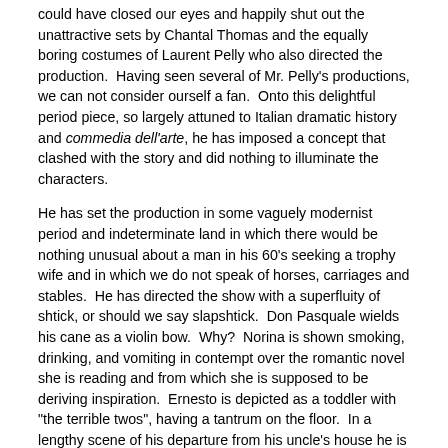could have closed our eyes and happily shut out the unattractive sets by Chantal Thomas and the equally boring costumes of Laurent Pelly who also directed the production.  Having seen several of Mr. Pelly's productions, we can not consider ourself a fan.  Onto this delightful period piece, so largely attuned to Italian dramatic history and commedia dell'arte, he has imposed a concept that clashed with the story and did nothing to illuminate the characters.
He has set the production in some vaguely modernist  period and indeterminate land in which there would be nothing unusual about a man in his 60's seeking a trophy wife and in which we do not speak of horses, carriages and stables.  He has directed the show with a superfluity of shtick, or should we say slapshtick.  Don Pasquale wields his cane as a violin bow.  Why?  Norina is shown smoking, drinking, and vomiting in contempt over the romantic novel she is reading and from which she is supposed to be deriving inspiration.  Ernesto is depicted as a toddler with "the terrible twos", having a tantrum on the floor.  In a lengthy scene of his departure from his uncle's house he is shown struggling with suitcases that open and spill out his clothes, a scene suggestive of Abbott and Costello.  When Malatesta visits Norina to set up the nasty plot, he pockets her underclothes and a shoe.  Again, why?  To what end?
The four principals gamely followed through on the direction and it was only their fine voices that allowed them to rise above the ridiculous direction.  But that ridiculous direction distracted from the music and made us dislike the characters and to not care what happens to them.  We want to love Ernesto and Norina!  We want them to triumph over adversity,